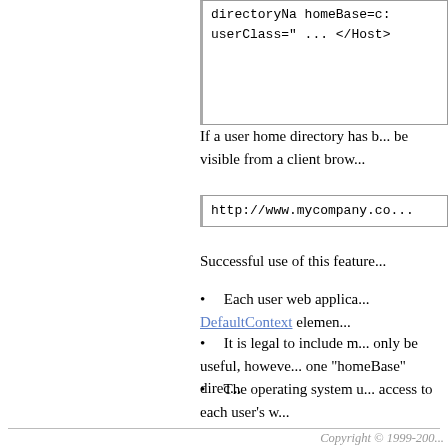[Figure (other): Code block showing XML configuration with directoryName, homeBase, and userClass attributes followed by ... and </Host> closing tag]
If a user home directory has been configured, it will be visible from a client brow...
[Figure (other): Code block showing http://www.mycompany.co...]
Successful use of this feature...
Each user web applica... DefaultContext element...
It is legal to include m... only be useful, however... one "homeBase" direc...
The operating system u... access to each user's w...
Copyright © 1999-200...